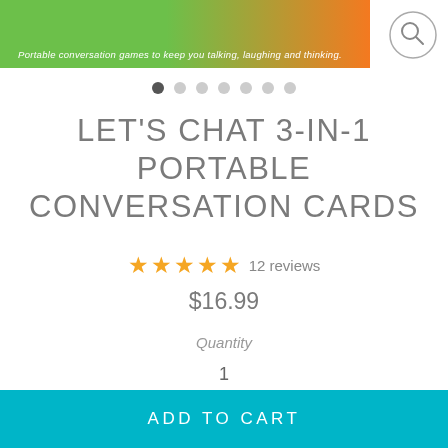[Figure (photo): Product image strip showing colorful conversation card game packaging with text 'Portable conversation games to keep you talking, laughing and thinking.' on a teal/green/orange background. A search/zoom icon circle is in the top right.]
[Figure (other): Image carousel navigation dots, first dot active/dark, six others grey]
LET'S CHAT 3-IN-1 PORTABLE CONVERSATION CARDS
★★★★★ 12 reviews
$16.99
Quantity
1
ADD TO CART